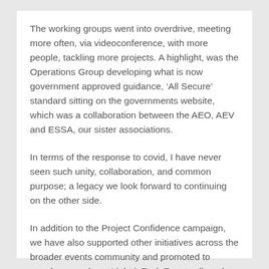The working groups went into overdrive, meeting more often, via videoconference, with more people, tackling more projects. A highlight, was the Operations Group developing what is now government approved guidance, ‘All Secure’ standard sitting on the governments website, which was a collaboration between the AEO, AEV and ESSA, our sister associations.
In terms of the response to covid, I have never seen such unity, collaboration, and common purpose; a legacy we look forward to continuing on the other side.
In addition to the Project Confidence campaign, we have also supported other initiatives across the broader events community and promoted to members, such as; Light it Red, Eventwell, and One Industry One Voice.